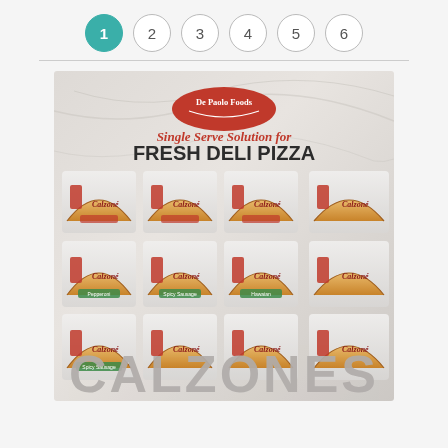1 2 3 4 5 6 (navigation steps, step 1 active)
[Figure (photo): De Paolo Foods product image showing calzones in plastic trays arranged in a 3x4 grid. Text overlay reads 'Single Serve Solution for FRESH DELI PIZZA' and large text at bottom reads 'CALZONES'. De Paolo Foods logo at top center.]